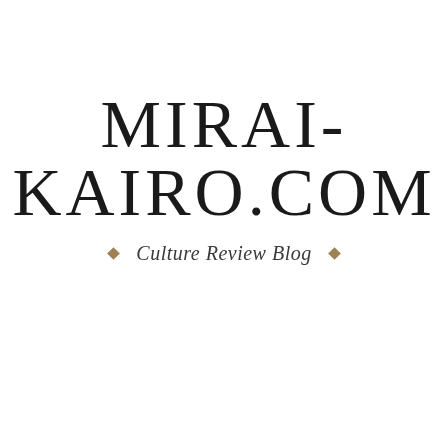MIRAI-KAIRO.COM
◆  Culture Review Blog  ◆